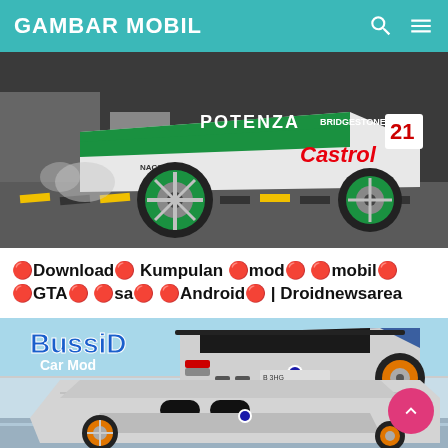GAMBAR MOBIL
[Figure (screenshot): Racing car with Potenza Bridgestone and Castrol #21 livery drifting on track, green/white paint, viewed from rear-side angle]
🔴Download🔴 Kumpulan 🔴mod🔴 🔴mobil🔴 🔴GTA🔴 🔴sa🔴 🔴Android🔴 | Droidnewsarea
[Figure (screenshot): BussiD Car Mod logo with silver BMW M4 with orange wheels on a race track, viewed from rear-side angle, split into two vertically stacked views]